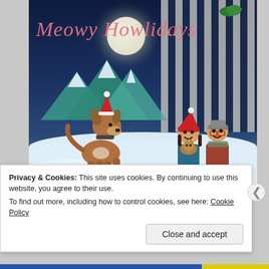[Figure (photo): Holiday greeting card image: 'Meowy Howlidays' text in pink italic font over a winter night scene. A dog wearing a Santa hat stands on snow on the left. A couple sits on a sled on the right, the woman holding a cat. Background shows mountains, a full moon, and vertical striped pattern. Green holly decoration near the title. Text at bottom reads 'with love from the Wittifini family'.]
Privacy & Cookies: This site uses cookies. By continuing to use this website, you agree to their use.
To find out more, including how to control cookies, see here: Cookie Policy
Close and accept